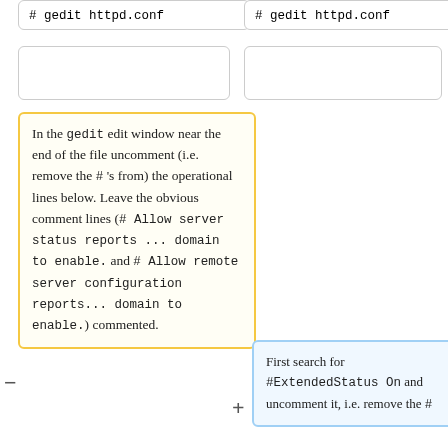# gedit httpd.conf
# gedit httpd.conf
In the <code>gedit</code> edit window near the end of the file uncomment (i.e. remove the <code>#</code> 's from) the operational lines below. Leave the obvious comment lines (<code># Allow server status reports ... domain to enable.</code> and <code># Allow remote server configuration reports... domain to enable.</code>) commented.
First search for <code>#ExtendedStatus On</code> and uncomment it, i.e. remove the <code>#</code>